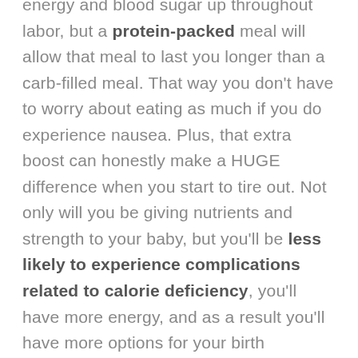energy and blood sugar up throughout labor, but a protein-packed meal will allow that meal to last you longer than a carb-filled meal. That way you don't have to worry about eating as much if you do experience nausea. Plus, that extra boost can honestly make a HUGE difference when you start to tire out. Not only will you be giving nutrients and strength to your baby, but you'll be less likely to experience complications related to calorie deficiency, you'll have more energy, and as a result you'll have more options for your birth experience. One of our rules of thumb for childbirth is: the more nutrients you put into your body before and throughout labor, the higher your